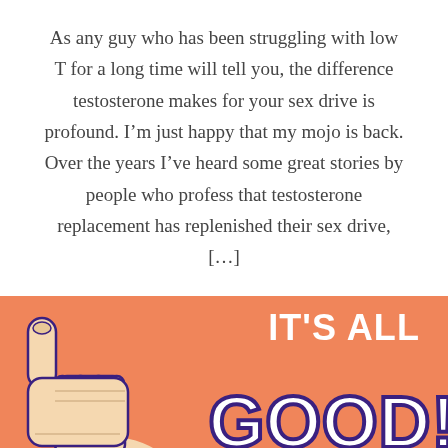As any guy who has been struggling with low T for a long time will tell you, the difference testosterone makes for your sex drive is profound. I'm just happy that my mojo is back. Over the years I've heard some great stories by people who profess that testosterone replacement has replenished their sex drive, [...]
CONTINUE READING
[Figure (illustration): Orange banner with a thumbs-up hand illustration on the left and the text 'IT'S ALL GOOD!' in large white and dark purple letters on the right.]